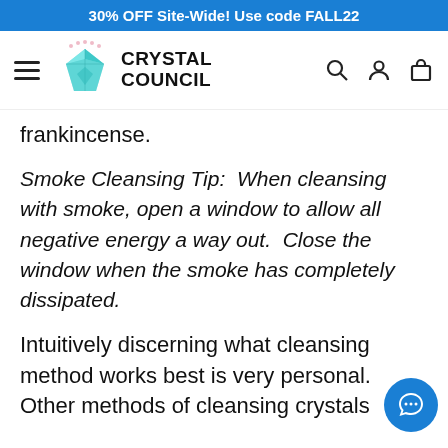30% OFF Site-Wide! Use code FALL22
[Figure (logo): Crystal Council logo with teal crystal icon and bold text reading CRYSTAL COUNCIL, alongside hamburger menu, search, account, and cart icons]
frankincense.
Smoke Cleansing Tip:  When cleansing with smoke, open a window to allow all negative energy a way out.  Close the window when the smoke has completely dissipated.
Intuitively discerning what cleansing method works best is very personal. Other methods of cleansing crystals